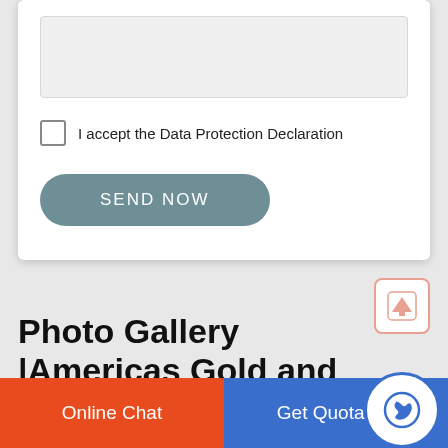[Figure (screenshot): A textarea/input field with light grey background, shown partially at top of the form card]
I accept the Data Protection Declaration
[Figure (other): SEND NOW button, rounded rectangle, teal/steel blue color with white uppercase text]
[Figure (other): Scroll-to-top icon button: square with rounded corners, salmon/pink border, upward arrow icon]
Photo Gallery |Americas Gold and Silver Corporation
[Figure (other): Bottom navigation bar with orange 'Online Chat' button on left, blue 'Get Quotation' button in center, and a circular phone icon button on right]